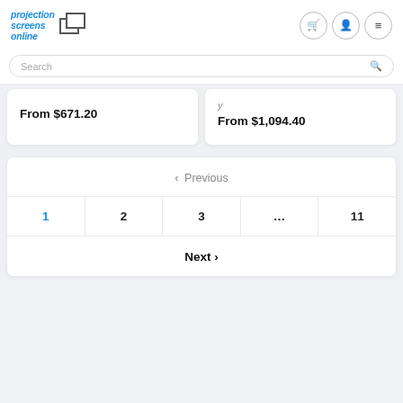[Figure (logo): Projection Screens Online logo with stylized blue text and overlapping square/rectangle icon]
Search
From $671.20
From $1,094.40
< Previous
1  2  3  ...  11
Next >